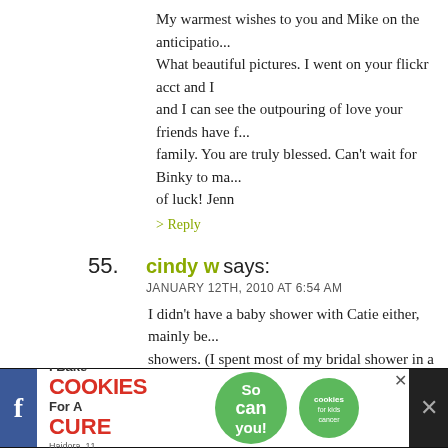My warmest wishes to you and Mike on the anticipatio... What beautiful pictures. I went on your flickr acct and I and I can see the outpouring of love your friends have f... family. You are truly blessed. Can't wait for Binky to ma... of luck! Jenn
> Reply
55. cindy w says: JANUARY 12TH, 2010 AT 6:54 AM
I didn't have a baby shower with Catie either, mainly be... showers. (I spent most of my bridal shower in a state of... Not a fan of being the center of attention like that.) But... have been there for yours. The whole thing looks beaut... AMAZING, and that cake? OMFG that is incredible.
.-= cindy w's last blog ..my expert phone interview tips =
> Reply
56. Becky says:
[Figure (other): Advertisement banner: I Bake Cookies For A Cure featuring a child cancer survivor named Haidora, age 11, with green 'cookies for kids cancer' branding and 'So can you!' text, with Facebook and close buttons on sides.]